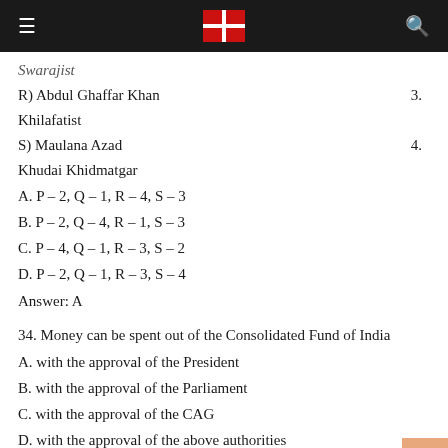≡ [logo] 🔍
Swarajist
R) Abdul Ghaffar Khan    3.
Khilafatist
S) Maulana Azad    4.
Khudai Khidmatgar
A. P – 2, Q – 1, R – 4, S – 3
B. P – 2, Q – 4, R – 1, S – 3
C. P – 4, Q – 1, R – 3, S – 2
D. P – 2, Q – 1, R – 3, S – 4
Answer: A
34. Money can be spent out of the Consolidated Fund of India
A. with the approval of the President
B. with the approval of the Parliament
C. with the approval of the CAG
D. with the approval of the above authorities